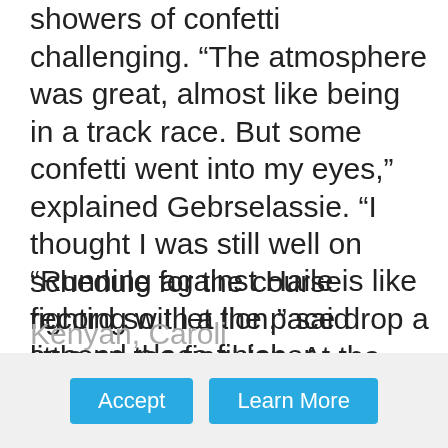showers of confetti challenging. “The atmosphere was great, almost like being in a track race. But some confetti went into my eyes,” explained Gebrselassie. “I thought I was still well on schedule for the course record so I let the pace drop a little on the final lap. At the finish I was surprised that I hadn’t done enough.”
“Running against Haile is like fighting with a lion,” said second-place finisher Shadrack Lagat, who clocked 22:48. Third place went to Paul Kipkorir of Kenya.
In the women’s race, 32-year-old Zadorozhnaya won a sprint duel at the finish to beat the 18-year-old Ethiopian, Emabeth Anterich (15:51), and the Kenyan, Caroli...
Meseret Mesai dominate in Madrid...